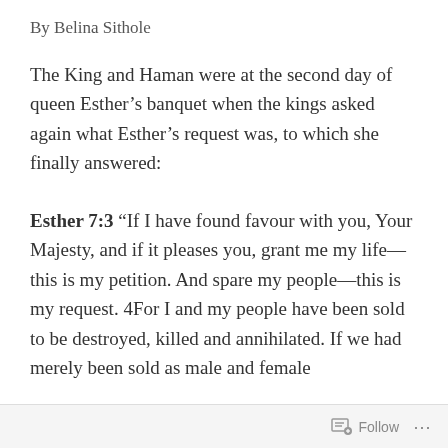By Belina Sithole
The King and Haman were at the second day of queen Esther's banquet when the kings asked again what Esther's request was, to which she finally answered:
Esther 7:3 “If I have found favour with you, Your Majesty, and if it pleases you, grant me my life—this is my petition. And spare my people—this is my request. 4For I and my people have been sold to be destroyed, killed and annihilated. If we had merely been sold as male and female
Follow ...